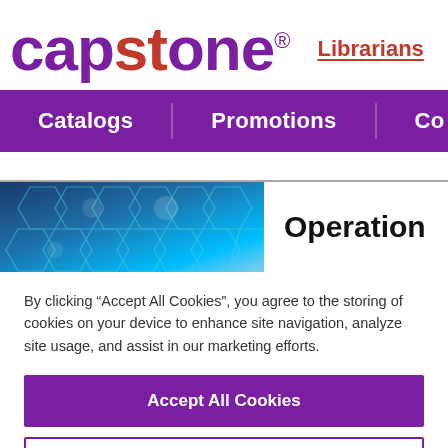[Figure (logo): Capstone publisher logo with 'capstone' in purple/red text and registered trademark symbol, followed by 'Librarians' link in red]
Catalogs    Promotions    Co
[Figure (photo): Blue hexagonal pattern background image, partial view]
Operation
By clicking “Accept All Cookies”, you agree to the storing of cookies on your device to enhance site navigation, analyze site usage, and assist in our marketing efforts.
Accept All Cookies
Cookies Settings